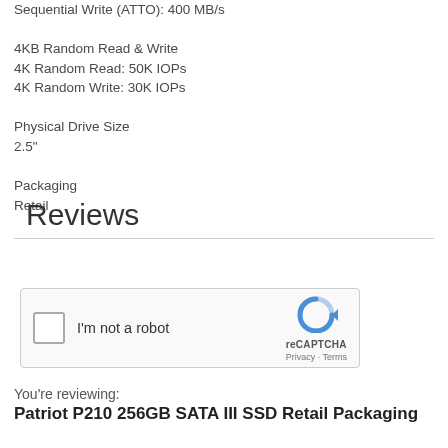Sequential Write (ATTO): 400 MB/s
4KB Random Read & Write
4K Random Read: 50K IOPs
4K Random Write: 30K IOPs
Physical Drive Size
2.5"
Packaging
Retail
Reviews
[Figure (other): reCAPTCHA widget with checkbox labeled 'I'm not a robot', reCAPTCHA logo, Privacy and Terms links]
You're reviewing:
Patriot P210 256GB SATA III SSD Retail Packaging